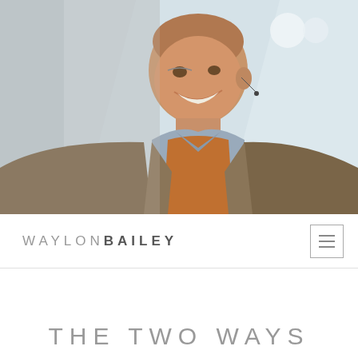[Figure (photo): An elderly man smiling and laughing, wearing a brown blazer over a light blue shirt with an orange vest, photographed in a bright interior setting with soft geometric background elements.]
WAYLON BAILEY
THE TWO WAYS